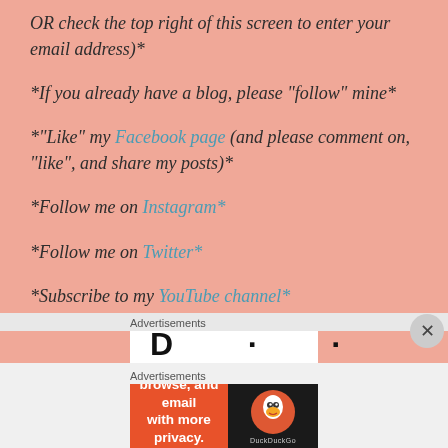OR check the top right of this screen to enter your email address)*
*If you already have a blog, please “follow” mine*
*“Like” my Facebook page (and please comment on, “like”, and share my posts)*
*Follow me on Instagram*
*Follow me on Twitter*
*Subscribe to my YouTube channel*
Advertisements
[Figure (screenshot): Partial advertisement banner with large bold letters visible at top]
Advertisements
[Figure (screenshot): DuckDuckGo advertisement: Search, browse, and email with more privacy. All in One Free App. Shows DuckDuckGo logo on dark background.]